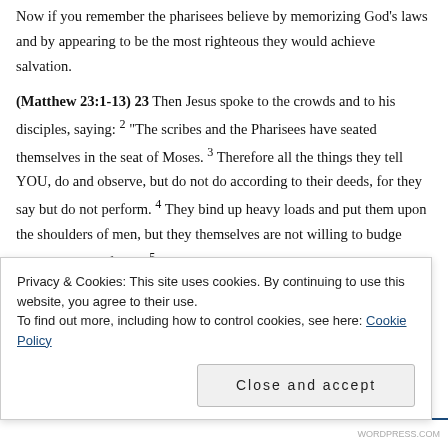Now if you remember the pharisees believe by memorizing God's laws and by appearing to be the most righteous they would achieve salvation.
(Matthew 23:1-13) 23 Then Jesus spoke to the crowds and to his disciples, saying: 2 "The scribes and the Pharisees have seated themselves in the seat of Moses. 3 Therefore all the things they tell YOU, do and observe, but do not do according to their deeds, for they say but do not perform. 4 They bind up heavy loads and put them upon the shoulders of men, but they themselves are not willing to budge them with their finger. 5 All the works they do they do to be viewed by men; for they broaden the [scripture-containing] cases that they wear as safeguards, and enlarge the fringes [of their garments]. 6 They like the
Privacy & Cookies: This site uses cookies. By continuing to use this website, you agree to their use.
To find out more, including how to control cookies, see here: Cookie Policy